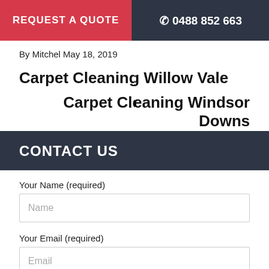REQUEST A QUOTE   ☎ 0488 852 663
By Mitchel May 18, 2019
Carpet Cleaning Willow Vale
Carpet Cleaning Windsor Downs
CONTACT US
Your Name (required)
Name
Your Email (required)
Email
Your Phone (required)